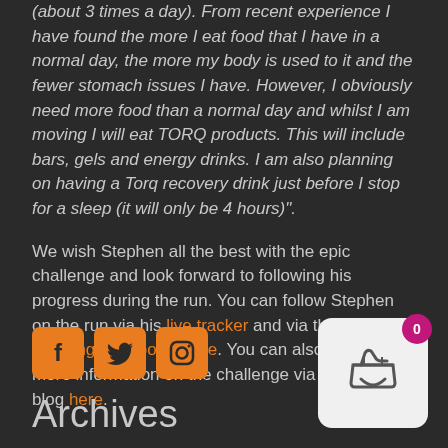(about 3 times a day). From recent experience I have found the more I eat food that I have in a normal day, the more my body is used to it and the fewer stomach issues I have. However, I obviously need more food than a normal day and whilst I am moving I will eat TORQ products. This will include bars, gels and energy drinks. I am also planning on having a Torq recovery drink just before I stop for a sleep (it will only be 4 hours)".
We wish Stephen all the best with the epic challenge and look forward to following his progress during the run. You can follow Stephen on the run via his live tracker and via the TORQ Running Facebook page. You can also find some more information on the challenge via Stephens blog here.
[Figure (other): Three social media icons (Facebook, Twitter, Instagram) rendered as orange square icons with rounded corners]
Archives
[Figure (other): Shopping basket icon in a white rounded rectangle with a pink/magenta badge showing 0]